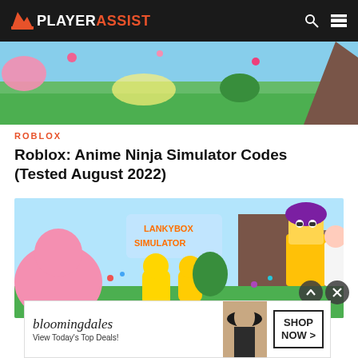PLAYERASSIST
[Figure (screenshot): Top image strip showing a colorful game scene with green grass background and cartoon characters]
ROBLOX
Roblox: Anime Ninja Simulator Codes (Tested August 2022)
[Figure (screenshot): Roblox game screenshot showing LankyBox Simulator with colorful cartoon Roblox characters including one with purple hair]
[Figure (screenshot): Bloomingdale's advertisement banner: 'View Today's Top Deals! SHOP NOW >']